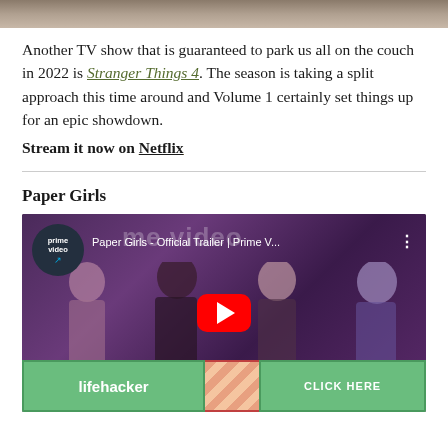[Figure (photo): Top portion of an image, cropped header photo]
Another TV show that is guaranteed to park us all on the couch in 2022 is Stranger Things 4. The season is taking a split approach this time around and Volume 1 certainly set things up for an epic showdown.
Stream it now on Netflix
Paper Girls
[Figure (screenshot): YouTube video thumbnail for 'Paper Girls - Official Trailer | Prime V...' with Prime Video badge, play button, and four girls in the background. Text 'OFFICIAL' visible at bottom.]
[Figure (other): Lifehacker advertisement banner with green background and 'CLICK HERE' button]